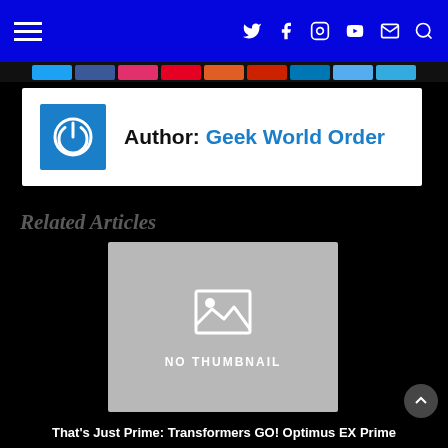Navigation bar with hamburger menu and social icons (Twitter, Facebook, Instagram, YouTube, Email, Search)
Author: Geek World Order
Related Articles
[Figure (photo): No thumbnail placeholder image with gray background and image icon, labeled NO THUMBNAIL]
That's Just Prime: Transformers GO! Optimus EX Prime